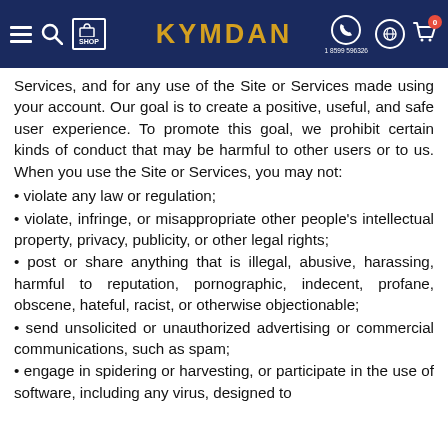KYMDAN — Navigation header with menu, search, shop, logo, phone (1 8599 596326), globe, and cart icons
Services, and for any use of the Site or Services made using your account. Our goal is to create a positive, useful, and safe user experience. To promote this goal, we prohibit certain kinds of conduct that may be harmful to other users or to us. When you use the Site or Services, you may not:
• violate any law or regulation;
• violate, infringe, or misappropriate other people's intellectual property, privacy, publicity, or other legal rights;
• post or share anything that is illegal, abusive, harassing, harmful to reputation, pornographic, indecent, profane, obscene, hateful, racist, or otherwise objectionable;
• send unsolicited or unauthorized advertising or commercial communications, such as spam;
• engage in spidering or harvesting, or participate in the use of software, including any virus, designed to…